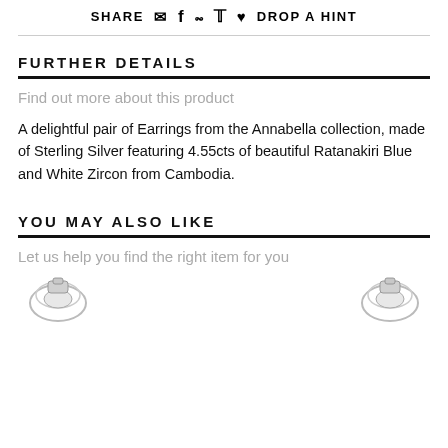SHARE  [email] [facebook] [pinterest] [twitter] [heart]  DROP A HINT
FURTHER DETAILS
Find out more about this product
A delightful pair of Earrings from the Annabella collection, made of Sterling Silver featuring 4.55cts of beautiful Ratanakiri Blue and White Zircon from Cambodia.
YOU MAY ALSO LIKE
Let us help you find the right item for you
[Figure (photo): Two small jewelry ring thumbnail images at bottom of page]